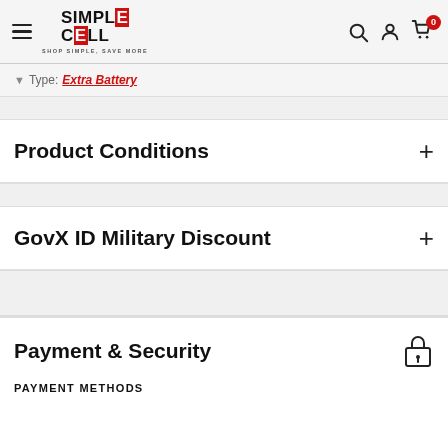SIMPLE CELL — SHOP SIMPLE, SAVE MORE
Type: Extra Battery
Product Conditions
GovX ID Military Discount
Payment & Security
PAYMENT METHODS